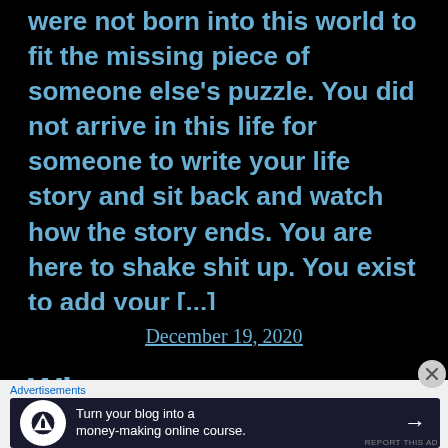were not born into this world to fit the missing piece of someone else's puzzle. You did not arrive in this life for someone to write your life story and sit back and watch how the story ends. You are here to shake shit up. You exist to add your [...]
December 19, 2020
Wh...
Advertisements
Turn your blog into a money-making online course. →